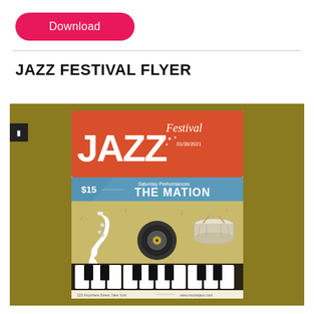[Figure (illustration): Pink/red rounded rectangle Download button]
JAZZ FESTIVAL FLYER
[Figure (illustration): Jazz Festival flyer preview image on a dark olive/gold background. The flyer shows JAZZ Festival text on a red-orange banner, a blue banner with THE MATION text and $15 price, and musical instruments (saxophone, vinyl record, drum) above piano keys on the lower portion.]